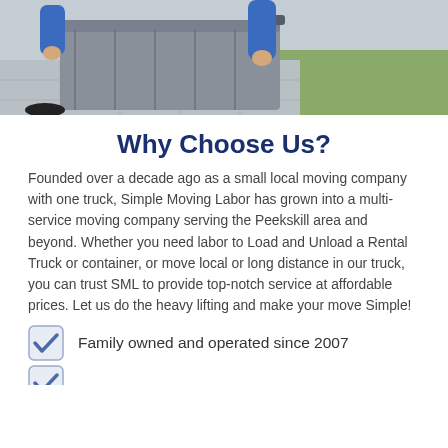[Figure (photo): A person in a blue shirt handling a large grey moving storage container or tub, with a paved surface and grass visible in the background.]
Why Choose Us?
Founded over a decade ago as a small local moving company with one truck, Simple Moving Labor has grown into a multi-service moving company serving the Peekskill area and beyond. Whether you need labor to Load and Unload a Rental Truck or container, or move local or long distance in our truck, you can trust SML to provide top-notch service at affordable prices. Let us do the heavy lifting and make your move Simple!
Family owned and operated since 2007